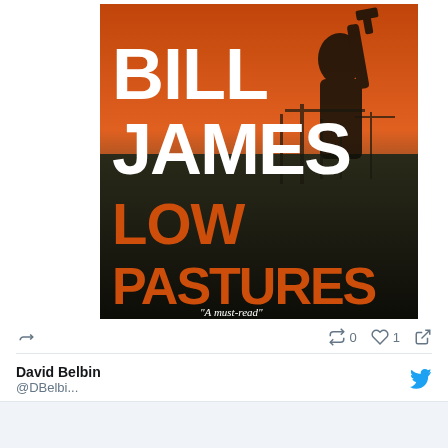[Figure (photo): Book cover photo of 'Low Pastures' by Bill James. The cover shows bold white text 'BILL JAMES' at the top, an orange and dark dramatic sky background with a silhouette of a person holding a gun, and large orange block letters 'LOW PASTURES' in the lower half. A quote 'A must-read' appears near the bottom.]
0
1
David Belbin
@DBelbi...